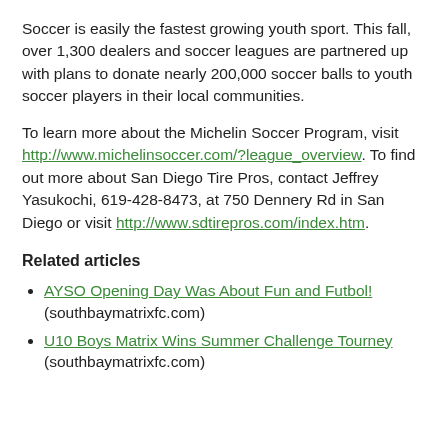Soccer is easily the fastest growing youth sport. This fall, over 1,300 dealers and soccer leagues are partnered up with plans to donate nearly 200,000 soccer balls to youth soccer players in their local communities.
To learn more about the Michelin Soccer Program, visit http://www.michelinsoccer.com/?league_overview. To find out more about San Diego Tire Pros, contact Jeffrey Yasukochi, 619-428-8473, at 750 Dennery Rd in San Diego or visit http://www.sdtirepros.com/index.htm.
Related articles
AYSO Opening Day Was About Fun and Futbol! (southbaymatrixfc.com)
U10 Boys Matrix Wins Summer Challenge Tourney (southbaymatrixfc.com)